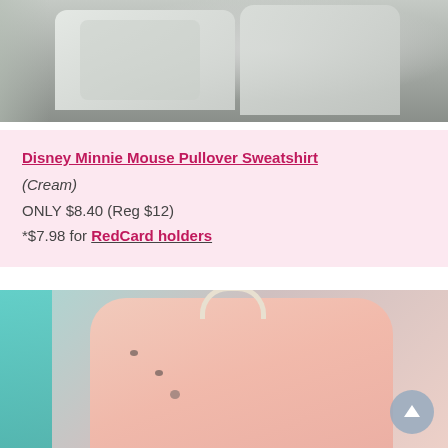[Figure (photo): Photo of Disney Minnie Mouse pullover sweatshirt in cream color hanging on a rack, showing Minnie Mouse character prints on light grey/white fabric]
Disney Minnie Mouse Pullover Sweatshirt
(Cream)
ONLY $8.40 (Reg $12)
*$7.98 for RedCard holders
[Figure (photo): Photo of Disney Minnie Mouse pullover sweatshirt in pink color on a hanger, showing Minnie Mouse character and heart prints on light pink fabric. A circular back-to-top scroll button is visible in the bottom right corner.]